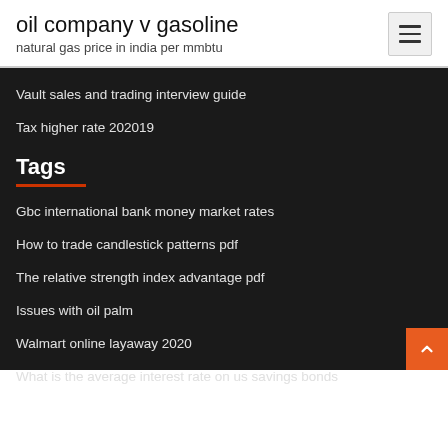oil company v gasoline
natural gas price in india per mmbtu
Vault sales and trading interview guide
Tax higher rate 202019
Tags
Gbc international bank money market rates
How to trade candlestick patterns pdf
The relative strength index advantage pdf
Issues with oil palm
Walmart online layaway 2020
What is the average interest rate on us savings bonds